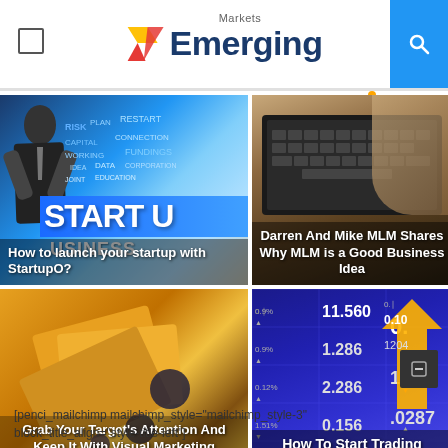Markets Emerging
[Figure (screenshot): Startup word cloud image with businessman, showing words: START UP, PLAN, RISK, CAPITAL, WORKING, FUNDINGS, CONNECTION, RESTART, JOINT, IDEA, DATA, EDUCATION, CORPORATION, BUSINESS, TEAM]
How to launch your startup with StartupO?
[Figure (photo): Person typing on laptop keyboard, writing notes]
Darren And Mike MLM Shares Why MLM is a Good Business Idea
[Figure (photo): Orange/gold brochures or marketing materials with dark background]
Grab Your Target's Attention And Keep It With Visual Marketing Through Multimedia Brochure
[Figure (screenshot): Stock market board showing trading numbers: 11.560, 1.286, 2.286, 0.156, with yellow arrow pointing up]
How To Start Trading Efficiently?
[penci_mailchimp mailchimp_style="mailchimp_style-3" block_title_align="style-title-left"]